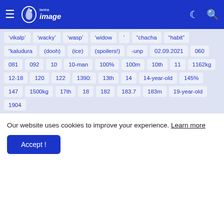Lanka Image
&#8216;vikalp&#8217;
&#8216;wacky&#8217;
&#8216;wasp&#8217;
&#8216;widow
&#8217;
&#8220;chacha
&#8220;habit&#8221;
&#8220;kaludura
(dooh)
(ice)
(spoilers!)
-unp
02.09.2021
060
081
092
10
10-man
100%
100m
10th
11
1162kg
12-18
120
122
1390:
13th
14
14-year-old
145%
147
1500kg
17th
18
182
183.7
183m
19-year-old
1904
Our website uses cookies to improve your experience. Learn more
Accept !